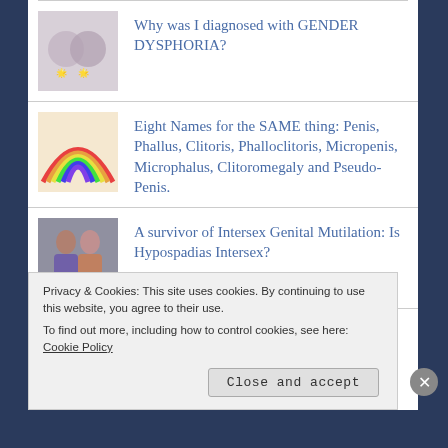Why was I diagnosed with GENDER DYSPHORIA?
Eight Names for the SAME thing: Penis, Phallus, Clitoris, Phalloclitoris, Micropenis, Microphalus, Clitoromegaly and Pseudo-Penis.
A survivor of Intersex Genital Mutilation: Is Hypospadias Intersex?
Privacy & Cookies: This site uses cookies. By continuing to use this website, you agree to their use. To find out more, including how to control cookies, see here: Cookie Policy